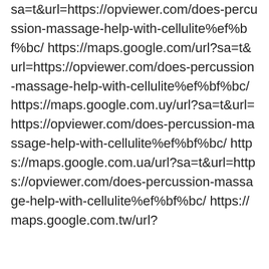sa=t&url=https://opviewer.com/does-percussion-massage-help-with-cellulite%ef%bf%bc/ https://maps.google.com/url?sa=t&url=https://opviewer.com/does-percussion-massage-help-with-cellulite%ef%bf%bc/ https://maps.google.com.uy/url?sa=t&url=https://opviewer.com/does-percussion-massage-help-with-cellulite%ef%bf%bc/ https://maps.google.com.ua/url?sa=t&url=https://opviewer.com/does-percussion-massage-help-with-cellulite%ef%bf%bc/ https://maps.google.com.tw/url?